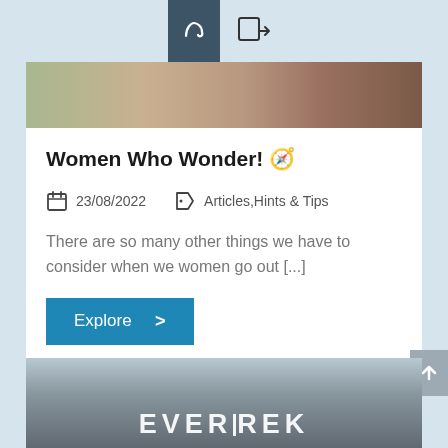[Figure (screenshot): Top navigation bar with phone icon on dark background and login arrow icon]
[Figure (photo): Partial photo strip showing women outdoors, cropped at top]
Women Who Wonder! 🧭
23/08/2022
Articles, Hints & Tips
There are so many other things we have to consider when we women go out [...]
Explore >
[Figure (photo): Bottom photo showing mountainous landscape with EVERTREK watermark text overlay]